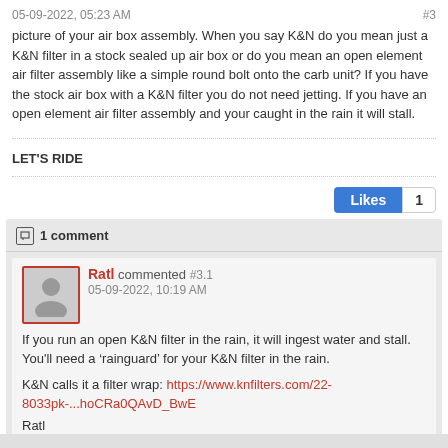05-09-2022, 05:23 AM    #3
picture of your air box assembly. When you say K&N do you mean just a K&N filter in a stock sealed up air box or do you mean an open element air filter assembly like a simple round bolt onto the carb unit? If you have the stock air box with a K&N filter you do not need jetting. If you have an open element air filter assembly and your caught in the rain it will stall.
LET'S RIDE
Likes 1
1 comment
Ratl commented #3.1
05-09-2022, 10:19 AM

If you run an open K&N filter in the rain, it will ingest water and stall. You'll need a 'rainguard' for your K&N filter in the rain.

K&N calls it a filter wrap: https://www.knfilters.com/22-8033pk-...hoCRa0QAvD_BwE

Ratl